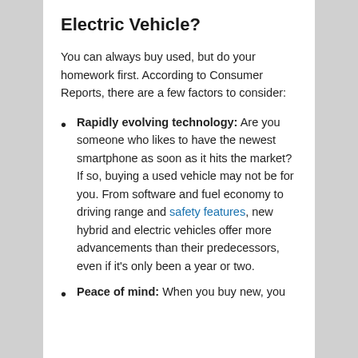Electric Vehicle?
You can always buy used, but do your homework first. According to Consumer Reports, there are a few factors to consider:
Rapidly evolving technology: Are you someone who likes to have the newest smartphone as soon as it hits the market? If so, buying a used vehicle may not be for you. From software and fuel economy to driving range and safety features, new hybrid and electric vehicles offer more advancements than their predecessors, even if it's only been a year or two.
Peace of mind: When you buy new, you